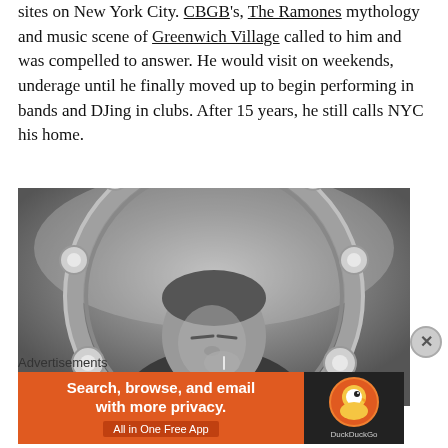sites on New York City. CBGB's, The Ramones mythology and music scene of Greenwich Village called to him and was compelled to answer. He would visit on weekends, underage until he finally moved up to begin performing in bands and DJing in clubs. After 15 years, he still calls NYC his home.
[Figure (photo): Black and white photo of a young man smoking a cigarette, framed by a large tambourine in the foreground]
Advertisements
[Figure (other): DuckDuckGo advertisement banner: 'Search, browse, and email with more privacy. All in One Free App' with DuckDuckGo logo on orange background]